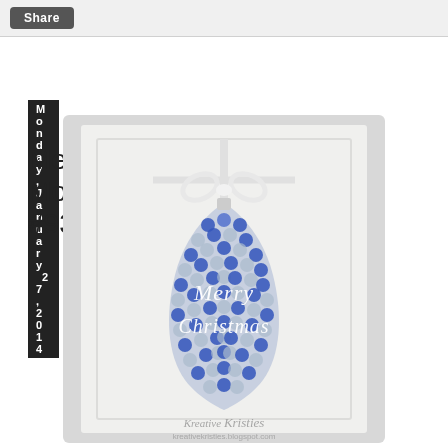Share
Monday, January 27, 2014
Merry Monday #93
[Figure (photo): A handmade Christmas card featuring a white embossed panel with a blue patterned ornament shape in the center. The ornament has a blue and white circular/floral pattern and has a white ribbon bow at the top. The words 'Merry Christmas' are written in white script across the ornament. A watermark reads 'Kreative Kristies' and 'kreativekristies.blogspot.com' at the bottom.]